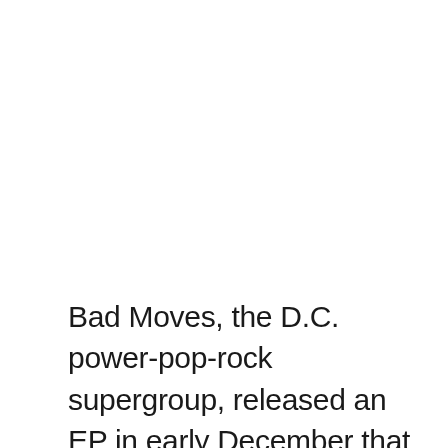Bad Moves, the D.C. power-pop-rock supergroup, released an EP in early December that was an obvious response to recent political events. But they also addressed pressing issues that can be considered more nuanced, such as holding shitty jobs, gender conventions, and growing